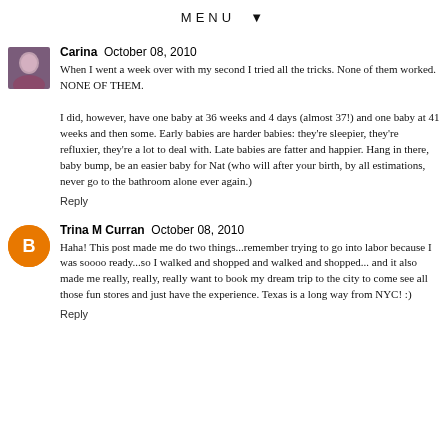MENU ▼
Carina  October 08, 2010
When I went a week over with my second I tried all the tricks. None of them worked. NONE OF THEM.

I did, however, have one baby at 36 weeks and 4 days (almost 37!) and one baby at 41 weeks and then some. Early babies are harder babies: they're sleepier, they're refluxier, they're a lot to deal with. Late babies are fatter and happier. Hang in there, baby bump, be an easier baby for Nat (who will after your birth, by all estimations, never go to the bathroom alone ever again.)

Reply
Trina M Curran  October 08, 2010
Haha! This post made me do two things...remember trying to go into labor because I was soooo ready...so I walked and shopped and walked and shopped... and it also made me really, really, really want to book my dream trip to the city to come see all those fun stores and just have the experience. Texas is a long way from NYC! :)

Reply